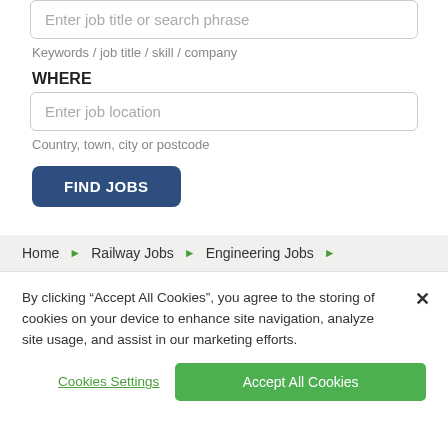Enter job title or search phrase
Keywords / job title / skill / company
WHERE
Enter job location
Country, town, city or postcode
FIND JOBS
Home ▶ Railway Jobs ▶ Engineering Jobs ▶
By clicking "Accept All Cookies", you agree to the storing of cookies on your device to enhance site navigation, analyze site usage, and assist in our marketing efforts.
Cookies Settings
Accept All Cookies